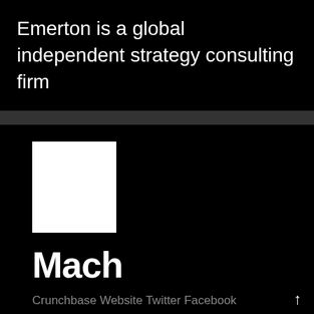Emerton is a global independent strategy consulting firm
[Figure (logo): White square logo for Mach on black background]
Mach
Crunchbase Website Twitter Facebook Linkedin
MACH is the provider of hub-based mobile communications exchange solutions, uniting